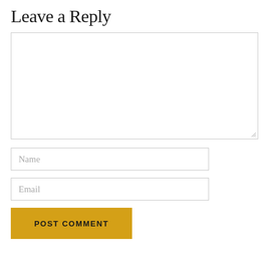Leave a Reply
[Figure (screenshot): Empty comment textarea with resize handle in bottom-right corner]
[Figure (screenshot): Name input field with placeholder text 'Name']
[Figure (screenshot): Email input field with placeholder text 'Email']
[Figure (screenshot): POST COMMENT button with yellow/gold background]